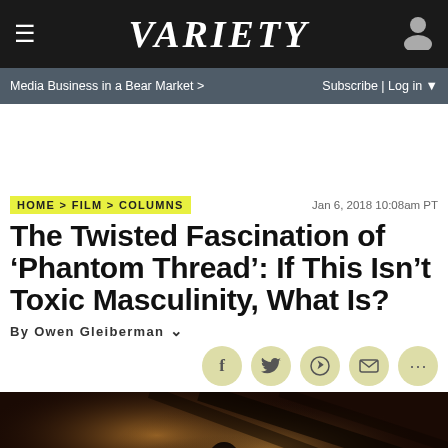VARIETY
Media Business in a Bear Market >
Subscribe | Log in
HOME > FILM > COLUMNS
Jan 6, 2018 10:08am PT
The Twisted Fascination of ‘Phantom Thread’: If This Isn’t Toxic Masculinity, What Is?
By Owen Gleiberman
[Figure (photo): Film still from Phantom Thread showing a figure in a dimly lit, warm-toned scene with wooden interior elements]